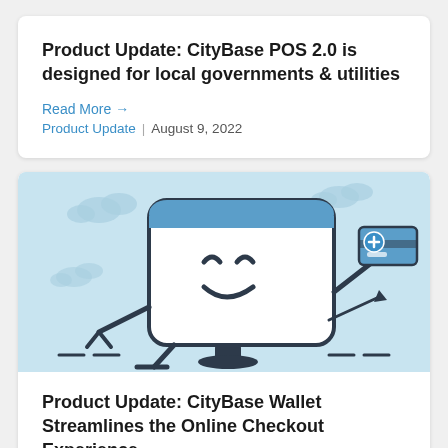Product Update: CityBase POS 2.0 is designed for local governments & utilities
Read More →
Product Update | August 9, 2022
[Figure (illustration): Cartoon illustration of a smiling computer monitor character with arms and legs, holding a credit card, with cloud shapes in the background. Blue and white color scheme.]
Product Update: CityBase Wallet Streamlines the Online Checkout Experience